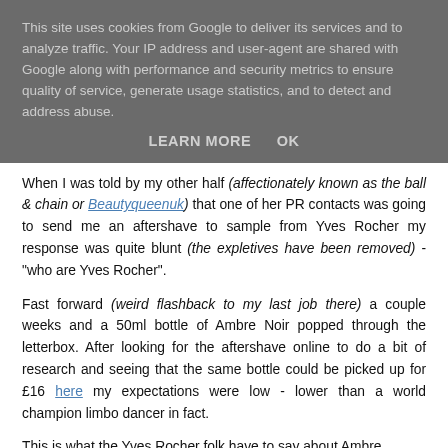This site uses cookies from Google to deliver its services and to analyze traffic. Your IP address and user-agent are shared with Google along with performance and security metrics to ensure quality of service, generate usage statistics, and to detect and address abuse.
LEARN MORE   OK
When I was told by my other half (affectionately known as the ball & chain or Beautyqueenuk) that one of her PR contacts was going to send me an aftershave to sample from Yves Rocher my response was quite blunt (the expletives have been removed) - "who are Yves Rocher".
Fast forward (weird flashback to my last job there) a couple weeks and a 50ml bottle of Ambre Noir popped through the letterbox. After looking for the aftershave online to do a bit of research and seeing that the same bottle could be picked up for £16 here my expectations were low - lower than a world champion limbo dancer in fact.
This is what the Yves Rocher folk have to say about Ambre